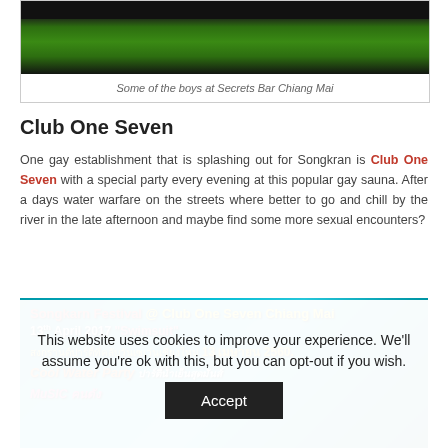[Figure (photo): Photo of boys at Secrets Bar Chiang Mai, showing a green snooker/pool table]
Some of the boys at Secrets Bar Chiang Mai
Club One Seven
One gay establishment that is splashing out for Songkran is Club One Seven with a special party every evening at this popular gay sauna. After a days water warfare on the streets where better to go and chill by the river in the late afternoon and maybe find some more sexual encounters?
[Figure (photo): Promotional event banner for Songkarn Festival at Club One Seven Chiang Mai, 13th April 2017 Swimsuit party, Cool Water Party, Music. Features water splash imagery and photos of men.]
This website uses cookies to improve your experience. We'll assume you're ok with this, but you can opt-out if you wish.